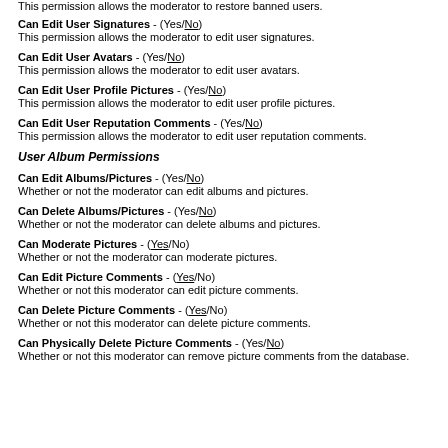This permission allows the moderator to restore banned users.
Can Edit User Signatures - (Yes/No)
This permission allows the moderator to edit user signatures.
Can Edit User Avatars - (Yes/No)
This permission allows the moderator to edit user avatars.
Can Edit User Profile Pictures - (Yes/No)
This permission allows the moderator to edit user profile pictures.
Can Edit User Reputation Comments - (Yes/No)
This permission allows the moderator to edit user reputation comments.
User Album Permissions
Can Edit Albums/Pictures - (Yes/No)
Whether or not the moderator can edit albums and pictures.
Can Delete Albums/Pictures - (Yes/No)
Whether or not the moderator can delete albums and pictures.
Can Moderate Pictures - (Yes/No)
Whether or not the moderator can moderate pictures.
Can Edit Picture Comments - (Yes/No)
Whether or not this moderator can edit picture comments.
Can Delete Picture Comments - (Yes/No)
Whether or not this moderator can delete picture comments.
Can Physically Delete Picture Comments - (Yes/No)
Whether or not this moderator can remove picture comments from the database.